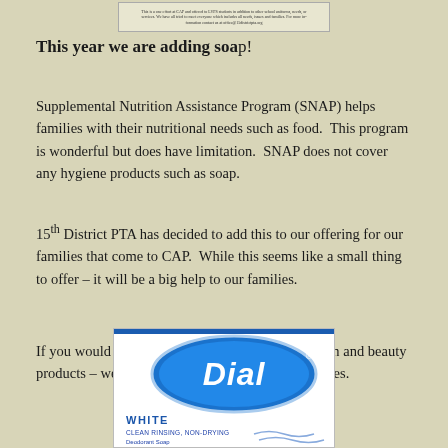This is a one effort at CAP and offered to LVPS students in addition to other school uniforms, needs, or services. We have all tried to meet everyone which includes all needs, issues and families. For more information contact us at office@15districtpta.org
This year we are adding soap!
Supplemental Nutrition Assistance Program (SNAP) helps families with their nutritional needs such as food. This program is wonderful but does have limitation. SNAP does not cover any hygiene products such as soap.
15th District PTA has decided to add this to our offering for our families that come to CAP. While this seems like a small thing to offer – it will be a big help to our families.
If you would like to donate new soap or other health and beauty products – we will be sure to get them to our families.
[Figure (photo): Image of a Dial White Clean Rinsing, Non-Drying Deodorant Soap bar package]